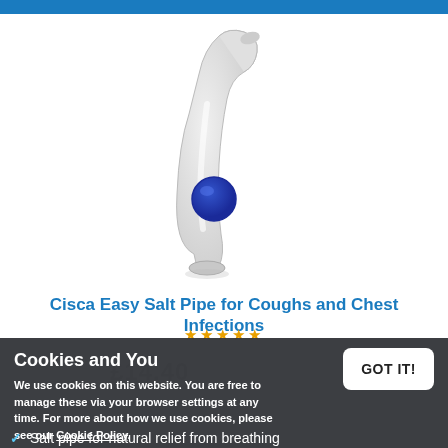[Figure (photo): White Cisca Easy Salt Pipe inhaler device with a blue circular button/indicator on the lower body, curved neck mouthpiece pointing upward-right, on white background]
Cisca Easy Salt Pipe for Coughs and Chest Infections
Cookies and You
We use cookies on this website. You are free to manage these via your browser settings at any time. For more about how we use cookies, please see our Cookie Policy.
GOT IT!
Salt pipe for natural relief from breathing